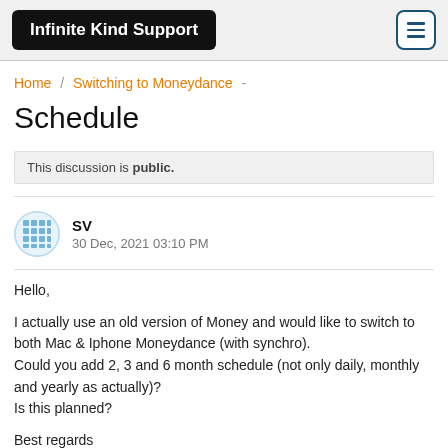Infinite Kind Support
Home / Switching to Moneydance
Schedule
This discussion is public.
SV
30 Dec, 2021 03:10 PM
Hello,

I actually use an old version of Money and would like to switch to both Mac & Iphone Moneydance (with synchro).
Could you add 2, 3 and 6 month schedule (not only daily, monthly and yearly as actually)?
Is this planned?

Best regards
Stéphan